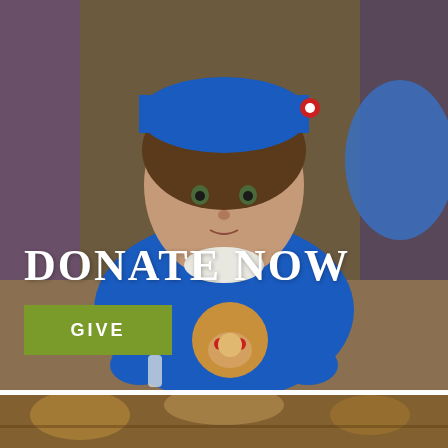[Figure (photo): A young child wearing a blue cap and blue sweatshirt with a cartoon bear on it, looking directly at camera. Background is blurred with purple and blue colors. Text overlaid: DONATE NOW and a green GIVE button.]
[Figure (photo): Partial view of an interior room with warm lighting visible at the bottom of the page.]